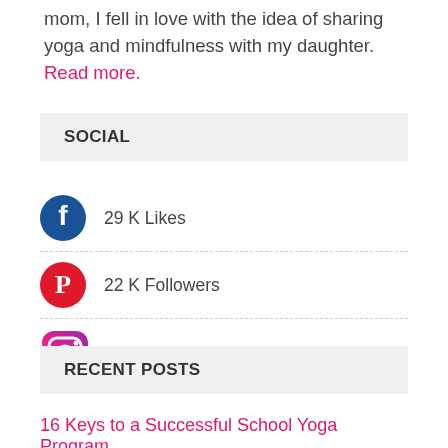mom, I fell in love with the idea of sharing yoga and mindfulness with my daughter. Read more.
SOCIAL
29 K Likes
22 K Followers
4 K Followers
RECENT POSTS
16 Keys to a Successful School Yoga Program